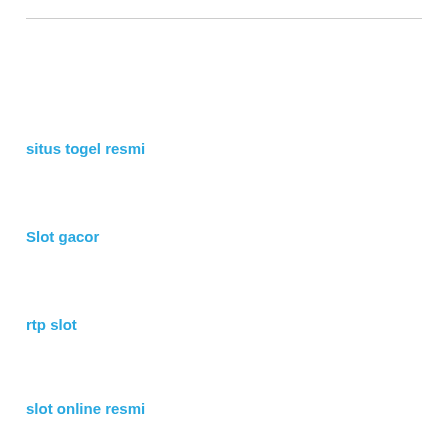situs togel resmi
Slot gacor
rtp slot
slot online resmi
hoki slot 188
Ceme Online
situs slot gacor